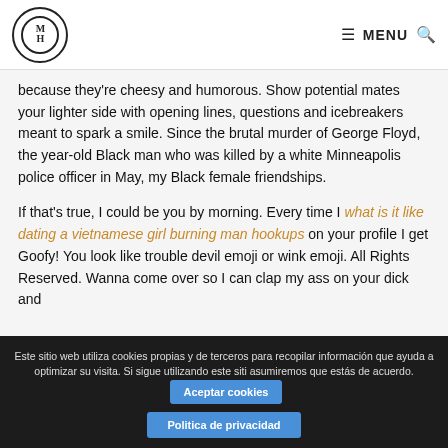MH logo | MENU
because they're cheesy and humorous. Show potential mates your lighter side with opening lines, questions and icebreakers meant to spark a smile. Since the brutal murder of George Floyd, the year-old Black man who was killed by a white Minneapolis police officer in May, my Black female friendships.
If that's true, I could be you by morning. Every time I what is it like dating a vietnamese girl burning man hookups on your profile I get Goofy! You look like trouble devil emoji or wink emoji. All Rights Reserved. Wanna come over so I can clap my ass on your dick and
Este sitio web utiliza cookies propias y de terceros para recopilar información que ayuda a optimizar su visita. Si sigue utilizando este sitio asumiremos que estás de acuerdo. Aceptar cookies Politica de privacidad